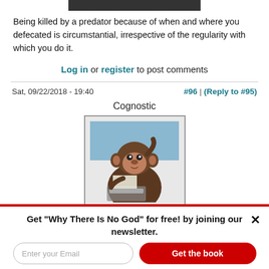[Figure (screenshot): Dark image bar at top of page]
Being killed by a predator because of when and where you defecated is circumstantial, irrespective of the regularity with which you do it.
Log in or register to post comments
Sat, 09/22/2018 - 19:40   #96 | (Reply to #95)
Cognostic
[Figure (photo): Avatar image of a chimpanzee sitting at a typewriter]
Get "Why There Is No God" for free! by joining our newsletter.